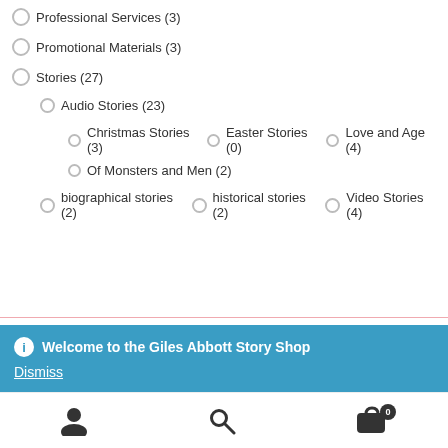Professional Services (3)
Promotional Materials (3)
Stories (27)
Audio Stories (23)
Christmas Stories (3)
Easter Stories (0)
Love and Age (4)
Of Monsters and Men (2)
biographical stories (2)
historical stories (2)
Video Stories (4)
Welcome to the Giles Abbott Story Shop
Dismiss
Account | Search | Cart (0)